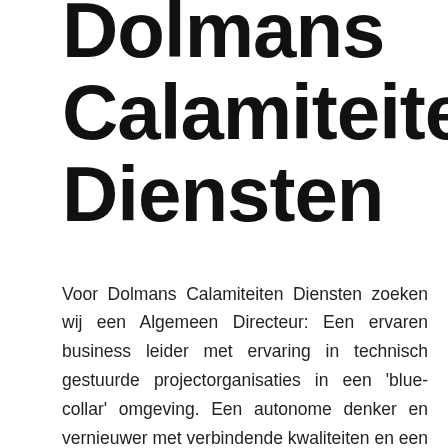Dolmans Calamiteiten Diensten
Voor Dolmans Calamiteiten Diensten zoeken wij een Algemeen Directeur: Een ervaren business leider met ervaring in technisch gestuurde projectorganisaties in een 'blue-collar' omgeving. Een autonome denker en vernieuwer met verbindende kwaliteiten en een sterke focus op resultaat. Een ondernemer met aandacht op rendementsverbetering én